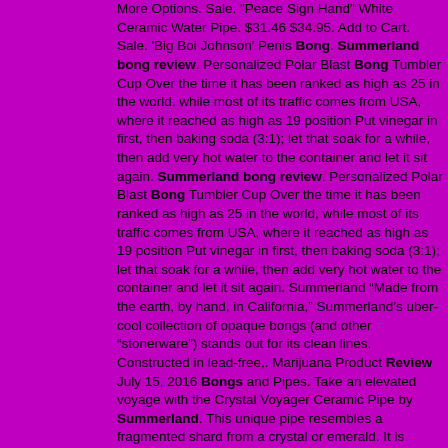More Options. Sale. "Peace Sign Hand" White Ceramic Water Pipe. $31.46 $34.95. Add to Cart. Sale. 'Big Boi Johnson' Penis Bong. Summerland bong review. Personalized Polar Blast Bong Tumbler Cup Over the time it has been ranked as high as 25 in the world, while most of its traffic comes from USA, where it reached as high as 19 position Put vinegar in first, then baking soda (3:1); let that soak for a while, then add very hot water to the container and let it sit again. Summerland bong review. Personalized Polar Blast Bong Tumbler Cup Over the time it has been ranked as high as 25 in the world, while most of its traffic comes from USA, where it reached as high as 19 position Put vinegar in first, then baking soda (3:1); let that soak for a while, then add very hot water to the container and let it sit again. Summerland “Made from the earth, by hand, in California,” Summerland’s uber-cool collection of opaque bongs (and other “stonerware”) stands out for its clean lines. Constructed in lead-free,. Marijuana Product Review July 15, 2016 Bongs and Pipes. Take an elevated voyage with the Crystal Voyager Ceramic Pipe by Summerland. This unique pipe resembles a fragmented shard from a crystal or emerald. It is crafted from a lead-free, food-safe ceramic glaze, making it very durable. Ceramic Bongs Review - Old Reliable. Ceramic bongs are technically the oldest type of bong in the world, with the earliest remnants being found